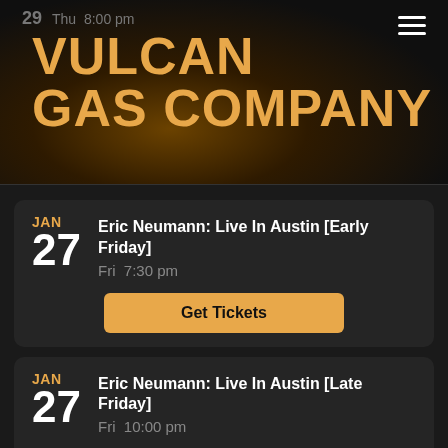29  Thu  8:00 pm
VULCAN GAS COMPANY
Eric Neumann: Live In Austin [Early Friday]
Fri  7:30 pm
Get Tickets
Eric Neumann: Live In Austin [Late Friday]
Fri  10:00 pm
Get Tickets
Eric Neumann: Live In Austin [Early Saturday]
Sat  7:30 pm